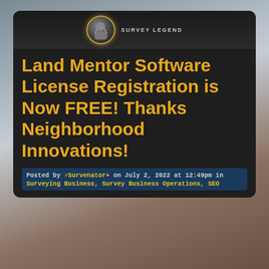[Figure (screenshot): Background image showing a surveyor scene with cloudy sky and orange-vested worker, muted blue-gray tones]
Land Mentor Software License Registration is Now FREE! Thanks Neighborhood Innovations!
Posted by ⚡Survenator+ on July 2, 2022 at 12:49pm in Surveying Business, Survey Business Operations, SEO
BEING THE SURVEYOR OF